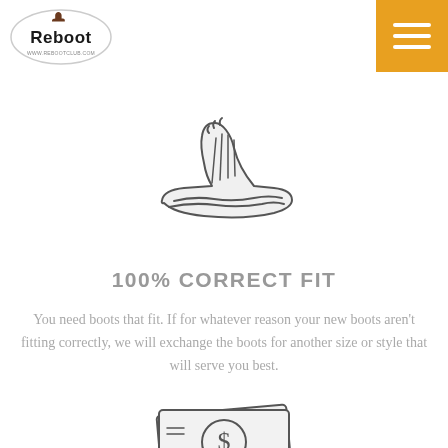[Figure (logo): Reboot brand logo in oval shape]
[Figure (illustration): Boot/shoe sole fitting icon in dark gray sketch style]
100% CORRECT FIT
You need boots that fit. If for whatever reason your new boots aren't fitting correctly, we will exchange the boots for another size or style that will serve you best.
[Figure (illustration): Dollar bill with circle dollar sign icon in dark gray sketch style]